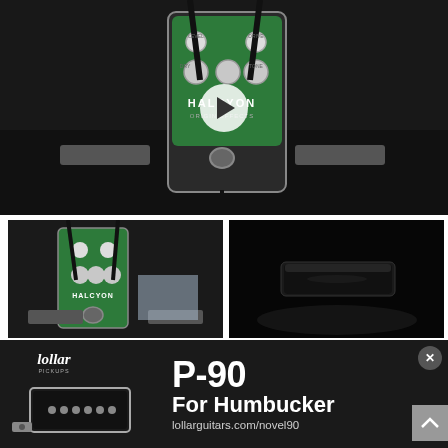[Figure (screenshot): Video thumbnail showing a green Origin Effects Halcyon guitar pedal on a dark surface, with a play button overlay]
[Figure (photo): Thumbnail photo of the Origin Effects Halcyon pedal from the side]
[Figure (photo): Thumbnail photo of a dark guitar pickup or accessory on a black surface]
First Look – Origin Effects Halcyon
Kiko Loureiro On His Ibanez
[Figure (infographic): Lollar Pickups advertisement banner: P-90 For Humbucker, lollarguitars.com/novel90, with image of a P-90 pickup]